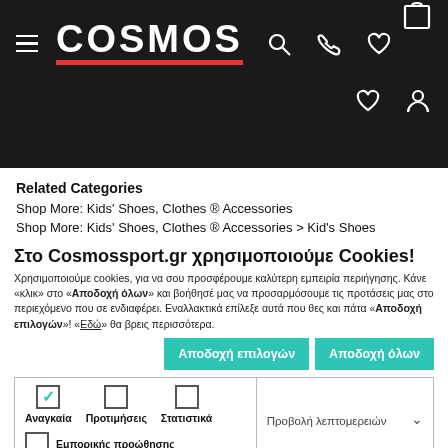[Figure (screenshot): Cosmos Sport website navigation header bar with dark background, showing hamburger menu, COSMOS logo with red underline, search icon, phone icon, heart icon, shopping bag icon, and bottom row with heart and user account icons]
Related Categories
Shop More: Kids' Shoes, Clothes & Accessories
Shop More: Kids' Shoes, Clothes & Accessories > Kid's Shoes
Στο Cosmossport.gr χρησιμοποιούμε Cookies!
Χρησιμοποιούμε cookies, για να σου προσφέρουμε καλύτερη εμπειρία περιήγησης. Κάνε «κλικ» στο «Αποδοχή όλων» και βοήθησέ μας να προσαρμόσουμε τις προτάσεις μας στο περιεχόμενο που σε ενδιαφέρει. Εναλλακτικά επίλεξε αυτά που θες και πάτα «Αποδοχή επιλογών»! «Εδώ» θα βρεις περισσότερα.
Αποδοχή επιλογών | Αποδοχή όλων
| Αναγκαία | Προτιμήσεις | Στατιστικά | Προβολή λεπτομερειών |
| --- | --- | --- | --- |
| ✓ |  |  | Εμπορικής προώθησης |